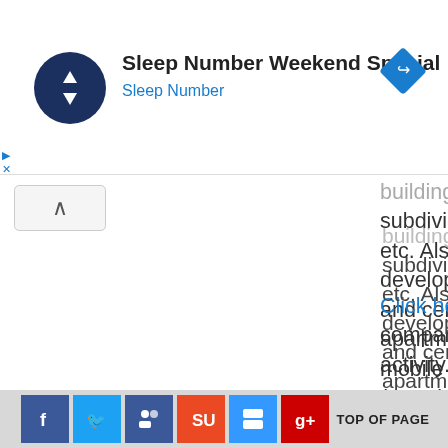[Figure (screenshot): Advertisement banner for Sleep Number Weekend Special with circular dark navy logo with up/down arrows, Sleep Number text in blue, and a blue diamond navigation badge on the right]
buildings; developing and subdividing real estate into lots etc. Also included are development and sale of land and cemetery lots, operating of apartment hotels and residential mobile home sites.(Development on own account involving construction is classified in class 4520).]
Click here to see other companies involved in same activity.
[Figure (screenshot): Social media sharing footer bar with Facebook, Twitter, Google+, StumbleUpon, Delicious, and Google+ icons, followed by TOP OF PAGE text]